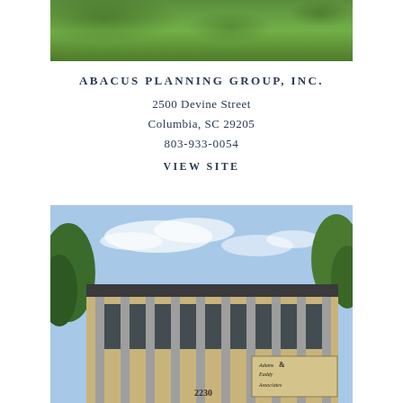[Figure (photo): Top portion of a photograph showing green grass lawn with tree shadows, cropped at top of page]
ABACUS PLANNING GROUP, INC.
2500 Devine Street
Columbia, SC 29205
803-933-0054
VIEW SITE
[Figure (photo): Photograph of a modern brick office building exterior with vertical concrete fins, blue sky with clouds, trees visible, sign reading 'Adams Eaddy & Associates' and number '2230' visible on building facade]